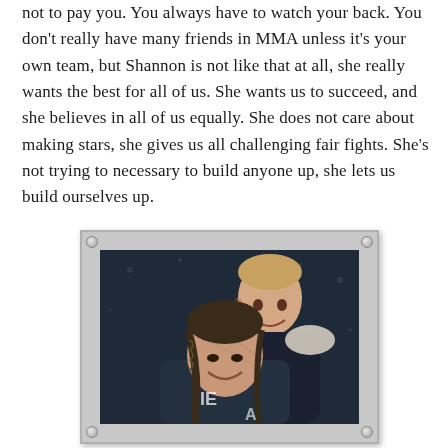not to pay you. You always have to watch your back. You don't really have many friends in MMA unless it's your own team, but Shannon is not like that at all, she really wants the best for all of us. She wants us to succeed, and she believes in all of us equally. She does not care about making stars, she gives us all challenging fair fights. She's not trying to necessary to build anyone up, she lets us build ourselves up.
[Figure (photo): A framed photograph showing two people smiling, appearing to be at an MMA event. One person is taller and stands behind, and a woman with braided hair is in the foreground. Dark background suggests an arena setting.]